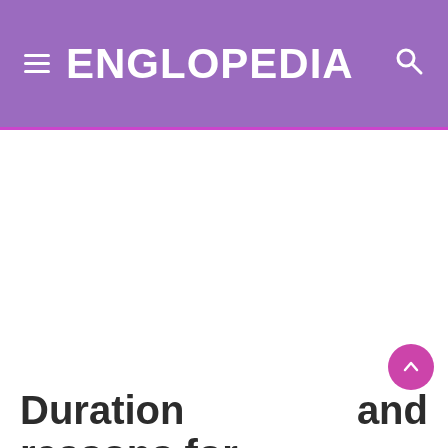ENGLOPEDIA
[Figure (other): White content area / advertisement placeholder below the header navigation bar]
Duration and reasons for